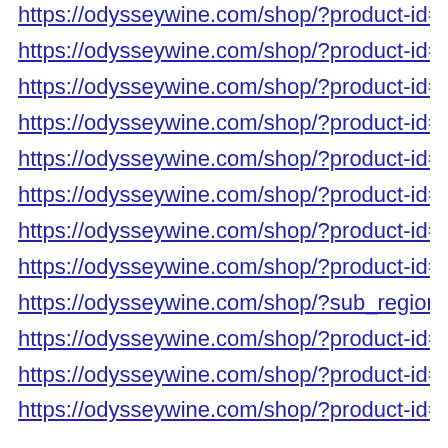https://odysseywine.com/shop/?product-id=5cc3883202…
https://odysseywine.com/shop/?product-id=5b3a9dfc8f5…
https://odysseywine.com/shop/?product-id=5b95715d5d…
https://odysseywine.com/shop/?product-id=573a34ca69…
https://odysseywine.com/shop/?product-id=56c2960e75…
https://odysseywine.com/shop/?product-id=57179e3f69…
https://odysseywine.com/shop/?product-id=5ddb81cf52e…
https://odysseywine.com/shop/?product-id=58a9896901…
https://odysseywine.com/shop/?sub_region=Bevagna
https://odysseywine.com/shop/?product-id=57cbea4c69…
https://odysseywine.com/shop/?product-id=5521cefd656…
https://odysseywine.com/shop/?product-id=56f4773749…